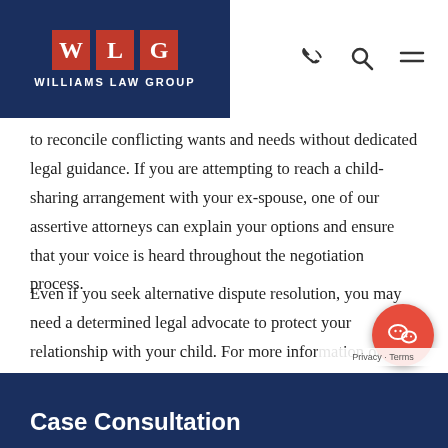Williams Law Group
to reconcile conflicting wants and needs without dedicated legal guidance. If you are attempting to reach a child-sharing arrangement with your ex-spouse, one of our assertive attorneys can explain your options and ensure that your voice is heard throughout the negotiation process.
Even if you seek alternative dispute resolution, you may need a determined legal advocate to protect your relationship with your child. For more information on avoiding court for child custody in Short Hills, contact our firm today.
Case Consultation